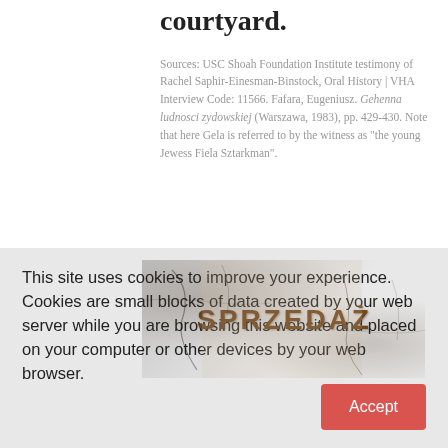courtyard.
Sources: USC Shoah Foundation Institute testimony of Rachel Saphir-Einesman-Binstock, Oral History | VHA Interview Code: 11566. Fafara, Eugeniusz. Gehenna ludnosci zydowskiej (Warszawa, 1983), pp. 429-430. Note that here Gela is referred to by the witness as "the young Jewess Fiela Sztarkman".
[Figure (photo): Aged weathered sign reading SPRZEDAZ in large letters, appearing to be an old Polish commercial sign with cracked and distressed surface]
This site uses cookies to improve your experience. Cookies are small blocks of data created by your web server while you are browsing this website and placed on your computer or other devices by your web browser.